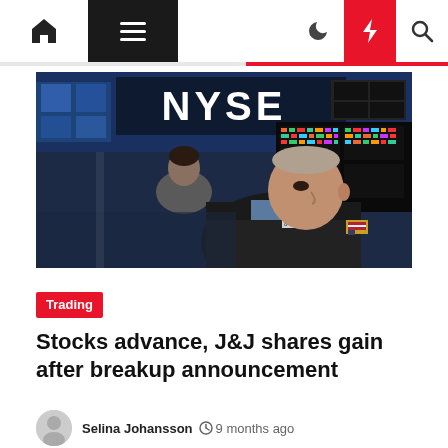Navigation bar with home, menu, moon, bolt, and search icons
[Figure (photo): NYSE trading floor photo showing traders in dark jackets with the NYSE sign illuminated in blue LED lights in the background, surrounded by financial display screens]
Trading
Stocks advance, J&J shares gain after breakup announcement
Selina Johansson  9 months ago